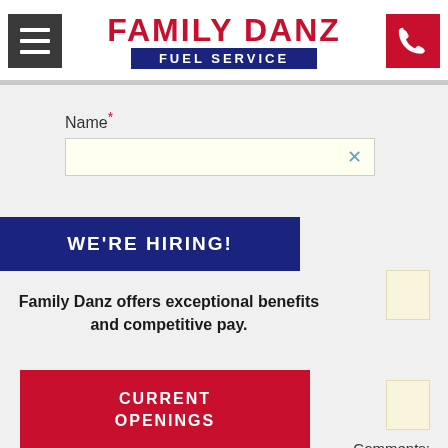[Figure (logo): Family Danz Fuel Service logo with red text 'FAMILY DANZ' above a dark blue bar reading 'FUEL SERVICE']
Name*
WE'RE HIRING!
Family Danz offers exceptional benefits and competitive pay.
CURRENT OPENINGS
Comments: